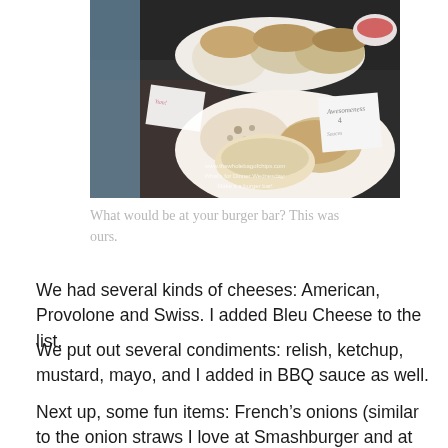[Figure (photo): Photo of a burger bar setup on a dark countertop with plates of burger buns, cheeses, and toppings. A label card reads 'Awesomeness 4' and there is a watermark text: www.thewholebagofchips.com / What's for Dinner Wednesday: Make it a burger bar!]
What would be at your burger bar? This was ours.
We had several kinds of cheeses: American, Provolone and Swiss. I added Bleu Cheese to the list.
We put out several condiments: relish, ketchup, mustard, mayo, and I added in BBQ sauce as well.
Next up, some fun items: French's onions (similar to the onion straws I love at Smashburger and at Texas